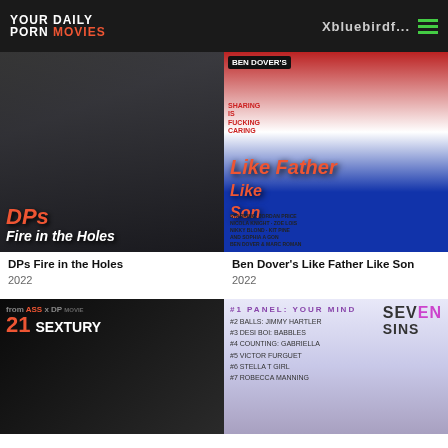YOUR DAILY PORN MOVIES / Xbluebirdf...
[Figure (photo): Movie cover for DPs Fire in the Holes (2022)]
[Figure (photo): Movie cover for Ben Dover's Like Father Like Son (2022)]
DPs Fire in the Holes
2022
Ben Dover's Like Father Like Son
2022
[Figure (photo): Movie cover for 21 Sextury (partial, bottom of page)]
[Figure (photo): Movie cover for Seven Sins (partial, bottom of page)]